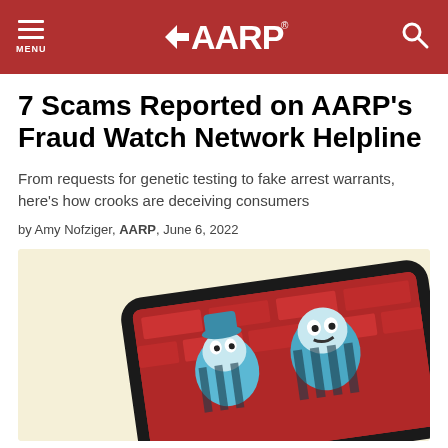AARP
7 Scams Reported on AARP’s Fraud Watch Network Helpline
From requests for genetic testing to fake arrest warrants, here’s how crooks are deceiving consumers
by Amy Nofziger, AARP, June 6, 2022
[Figure (illustration): Illustration of cartoon villains/scammers depicted inside a smartphone screen — characters in blue-and-black striped outfits with a brick wall background, rendered in a noir comic style with red, blue, and black colors.]